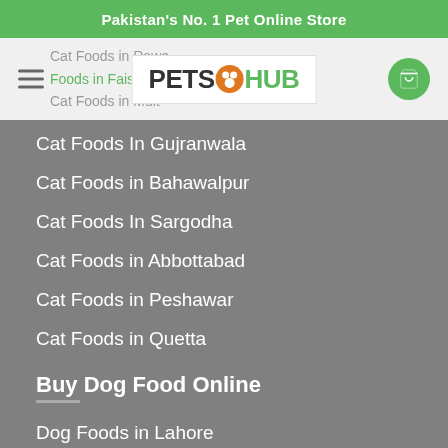Pakistan's No. 1 Pet Online Store
[Figure (logo): PetsHub logo with orange paw icon and green HUB text]
Cat Foods In Rawalpindi (partially visible)
Foods in Faisalabad (partially visible)
Cat Foods in Multan (partially visible)
Cat Foods In Gujranwala
Cat Foods in Bahawalpur
Cat Foods In Sargodha
Cat Foods in Abbottabad
Cat Foods in Peshawar
Cat Foods in Quetta
Buy Dog Food Online
Dog Foods in Lahore
Dog Foods in Karachi
Dog Foods in Islamabad
Dog Foods in Rawalpindi
Dog Foods in Faisalabad (partially visible)